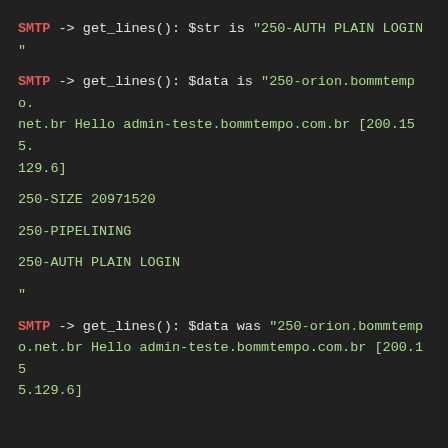SMTP -> get_lines(): $str is "250-AUTH PLAIN LOGIN
"
SMTP -> get_lines(): $data is "250-orion.bommtempo.net.br Hello admin-teste.bommtempo.com.br [200.155.129.6]
250-SIZE 20971520
250-PIPELINING
250-AUTH PLAIN LOGIN
"
SMTP -> get_lines(): $data was "250-orion.bommtempo.net.br Hello admin-teste.bommtempo.com.br [200.155.129.6]